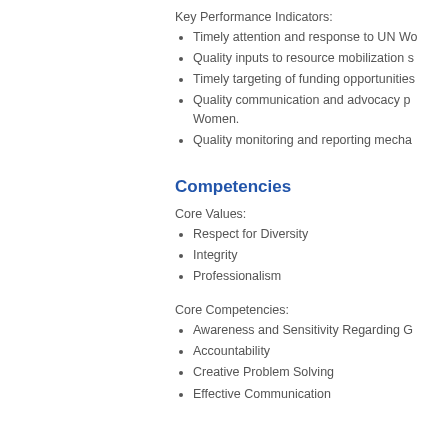Key Performance Indicators:
Timely attention and response to UN Wo
Quality inputs to resource mobilization s
Timely targeting of funding opportunities
Quality communication and advocacy p... Women.
Quality monitoring and reporting mecha
Competencies
Core Values:
Respect for Diversity
Integrity
Professionalism
Core Competencies:
Awareness and Sensitivity Regarding G
Accountability
Creative Problem Solving
Effective Communication